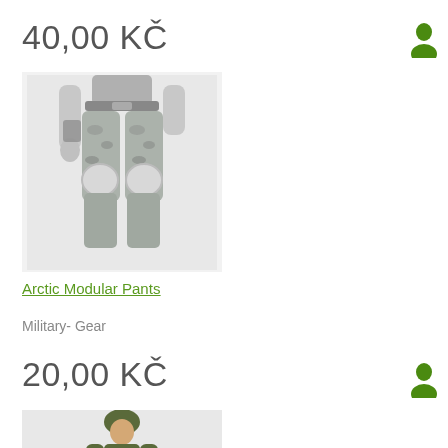40,00 KČ
[Figure (illustration): 3D render of arctic modular military pants with knee pads and tactical gear on a mannequin figure]
Arctic Modular Pants
Military- Gear
20,00 KČ
[Figure (illustration): 3D render of a small military soldier figure wearing a helmet and uniform]